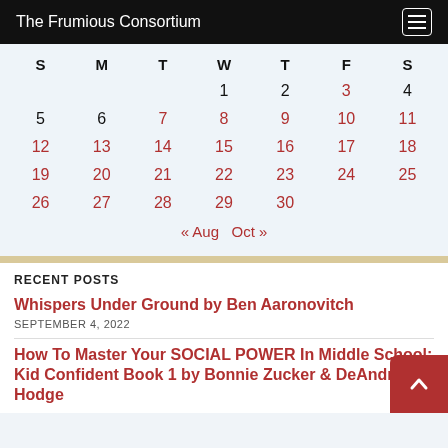The Frumious Consortium
| S | M | T | W | T | F | S |
| --- | --- | --- | --- | --- | --- | --- |
|  |  |  | 1 | 2 | 3 | 4 |
| 5 | 6 | 7 | 8 | 9 | 10 | 11 |
| 12 | 13 | 14 | 15 | 16 | 17 | 18 |
| 19 | 20 | 21 | 22 | 23 | 24 | 25 |
| 26 | 27 | 28 | 29 | 30 |  |  |
« Aug  Oct »
RECENT POSTS
Whispers Under Ground by Ben Aaronovitch
SEPTEMBER 4, 2022
How To Master Your SOCIAL POWER In Middle School: Kid Confident Book 1 by Bonnie Zucker & DeAndra Hodge